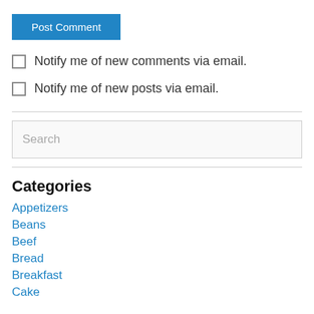[Figure (screenshot): Blue 'Post Comment' button]
Notify me of new comments via email.
Notify me of new posts via email.
[Figure (screenshot): Search input box with placeholder text 'Search']
Categories
Appetizers
Beans
Beef
Bread
Breakfast
Cake